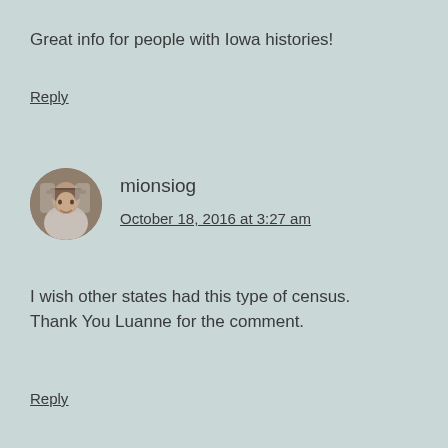Great info for people with Iowa histories!
Reply
[Figure (photo): Circular avatar photo of a person wearing a hat, in a brown/brick background setting]
mionsiog
October 18, 2016 at 3:27 am
I wish other states had this type of census. Thank You Luanne for the comment.
Reply